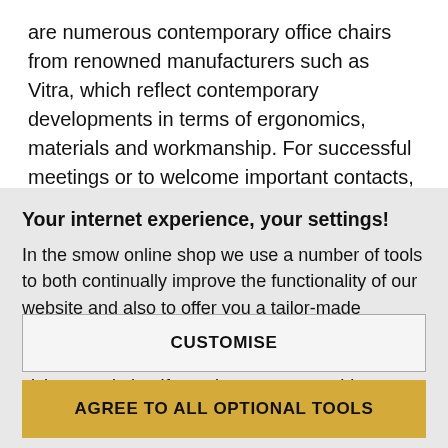are numerous contemporary office chairs from renowned manufacturers such as Vitra, which reflect contemporary developments in terms of ergonomics, materials and workmanship. For successful meetings or to welcome important contacts, it is also advisable to create seating arrangements with high-quality armchairs and elegant side tables that ensure
Your internet experience, your settings!
In the smow online shop we use a number of tools to both continually improve the functionality of our website and also to offer you a tailor-made shopping experience. For this reason we evaluate certain data, for example which device you use to visit our website. If you do not agree to this, you have the option of
CUSTOMISE
AGREE TO ALL OPTIONAL TOOLS